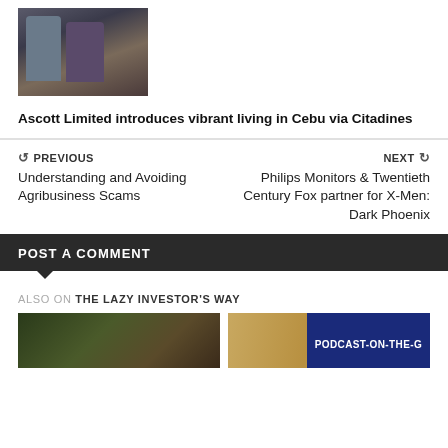[Figure (photo): Three people seated, two men and one woman in the middle wearing a floral dress]
Ascott Limited introduces vibrant living in Cebu via Citadines
PREVIOUS
Understanding and Avoiding Agribusiness Scams
NEXT
Philips Monitors & Twentieth Century Fox partner for X-Men: Dark Phoenix
POST A COMMENT
ALSO ON THE LAZY INVESTOR'S WAY
[Figure (photo): Food/nature thumbnail image on the left]
[Figure (photo): Wooden surface thumbnail with PODCAST-ON-THE-G badge]